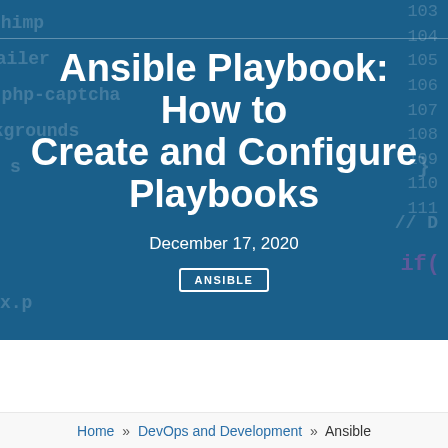[Figure (photo): Blue hero banner with code editor background showing line numbers and code snippets]
Ansible Playbook: How to Create and Configure Playbooks
December 17, 2020
ANSIBLE
Home » DevOps and Development » Ansible